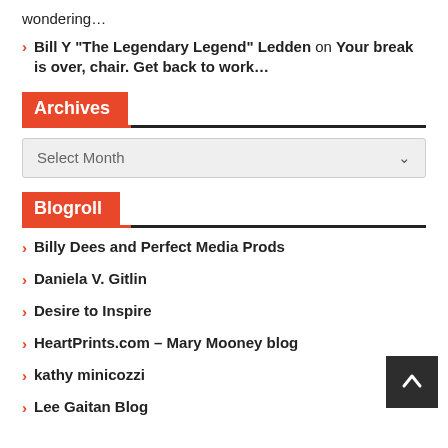wondering…
Bill Y "The Legendary Legend" Ledden on Your break is over, chair. Get back to work…
Archives
Select Month
Blogroll
Billy Dees and Perfect Media Prods
Daniela V. Gitlin
Desire to Inspire
HeartPrints.com – Mary Mooney blog
kathy minicozzi
Lee Gaitan Blog